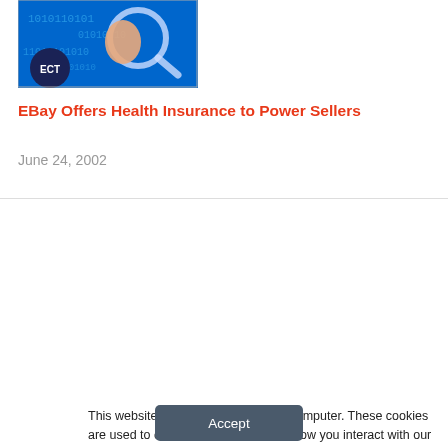[Figure (photo): ECT logo image — hand holding a magnifying glass over binary code on a blue background, with ECT badge in bottom-left corner]
EBay Offers Health Insurance to Power Sellers
June 24, 2002
This website stores cookies on your computer. These cookies are used to collect information about how you interact with our website and allow us to remember you. We use this information in order to improve and customize your browsing experience and for analytics and metrics about our visitors both on this website and other media. To find out more about the cookies we use, see our Privacy Policy. California residents have the right to direct us not to sell their personal information to third parties by filing an Opt-Out Request: Do Not Sell My Personal Info.
Accept